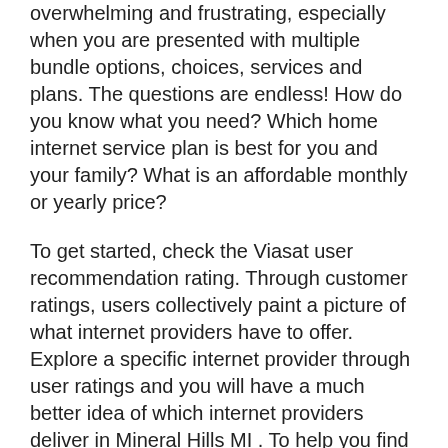overwhelming and frustrating, especially when you are presented with multiple bundle options, choices, services and plans. The questions are endless! How do you know what you need? Which home internet service plan is best for you and your family? What is an affordable monthly or yearly price?
To get started, check the Viasat user recommendation rating. Through customer ratings, users collectively paint a picture of what internet providers have to offer. Explore a specific internet provider through user ratings and you will have a much better idea of which internet providers deliver in Mineral Hills MI . To help you find a provider, search terms like “best internet provider in Mineral Hills MI ” or “top internet provider in Iron County.” You might also compare Viasat vs. HughesNet internet service plans for your area.
Most satellite internet service providers offer various data allowance plans, depending on online activities. However,